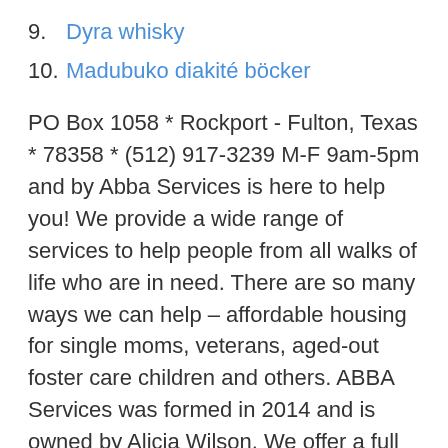9. Dyra whisky
10. Madubuko diakité böcker
PO Box 1058 * Rockport - Fulton, Texas * 78358 * (512) 917-3239 M-F 9am-5pm and by Abba Services is here to help you! We provide a wide range of services to help people from all walks of life who are in need. There are so many ways we can help – affordable housing for single moms, veterans, aged-out foster care children and others. ABBA Services was formed in 2014 and is owned by Alicia Wilson. We offer a full scale range of cleaning and make-ready services for both residential and commercial customers.